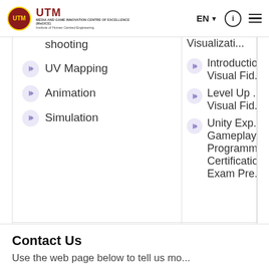UTM | MEDIA AND GAME INNOVATION CENTRE OF EXCELLENCE (MaGICE) | Institute of Human Centred Engineering | EN | info | menu
shooting
UV Mapping
Animation
Simulation
Visualizati...
Introductio... Visual Fid...
Level Up ... Visual Fid...
Unity Exp... Gameplay Programm... Certificatio... Exam Pre...
Contact Us
Use the web page below to tell us mo...